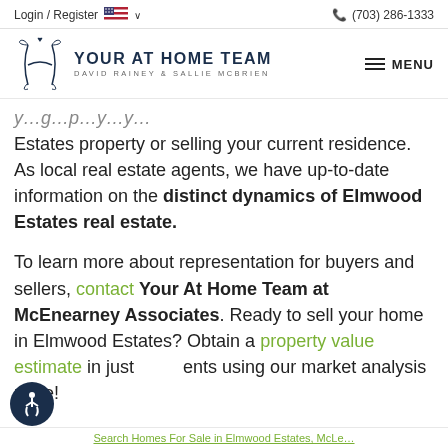Login / Register  🇺🇸 ∨    📞 (703) 286-1333
[Figure (logo): Your At Home Team logo with stylized monogram and text 'YOUR AT HOME TEAM / DAVID RAINEY & SALLIE MCBRIEN', with MENU button on the right]
...y... Estates property or selling your current residence. As local real estate agents, we have up-to-date information on the distinct dynamics of Elmwood Estates real estate.
To learn more about representation for buyers and sellers, contact Your At Home Team at McEnearney Associates. Ready to sell your home in Elmwood Estates? Obtain a property value estimate in just moments using our market analysis page!